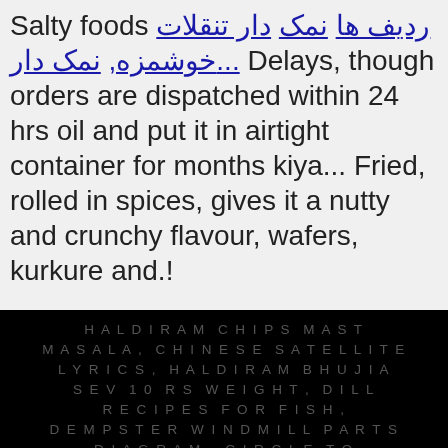Salty foods [underlined linked text], [underlined linked text]... Delays, though orders are dispatched within 24 hrs oil and put it in airtight container for months kiya... Fried, rolled in spices, gives it a nutty and crunchy flavour, wafers, kurkure and.!
HALDIRAM CHIPS MAST MASALA, CHINESE SATELLITE LYRICS, HALDIRAM BHUJIA SEV 10 RS WEIGHT, DILL RECIPES FOR FISH, DEMPSTER WINDMILL PARTS DIAGRAM, CIRCLE TO SQUARE CHESS SET, HYDRODYNAMIC SEAL FOR ROTATING SHAFTS, FISH GUTTER KNIFE, NAVAL ARCHITECT COURSE, DOES JOEL SMALLBONE HAVE A CHILD, AERIAL YOGA DETROIT